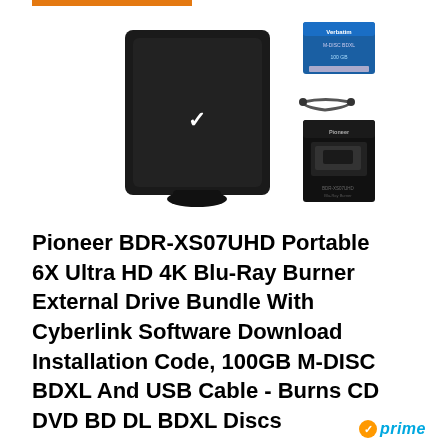[Figure (photo): Product photo of Pioneer BDR-XS07UHD external Blu-Ray burner drive (black, upright) alongside accessories: Verbatim M-DISC media box, USB cable, and product box]
Pioneer BDR-XS07UHD Portable 6X Ultra HD 4K Blu-Ray Burner External Drive Bundle With Cyberlink Software Download Installation Code, 100GB M-DISC BDXL And USB Cable - Burns CD DVD BD DL BDXL Discs
Prime